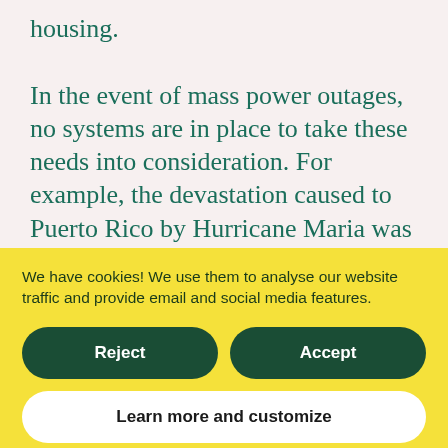housing.

In the event of mass power outages, no systems are in place to take these needs into consideration. For example, the devastation caused to Puerto Rico by Hurricane Maria was worsened by months-long power outages, stopping people from accessing essential care and necessities. Not everyone has means to evacuate in a climate tion
We have cookies! We use them to analyse our website traffic and provide email and social media features.
Reject
Accept
Learn more and customize